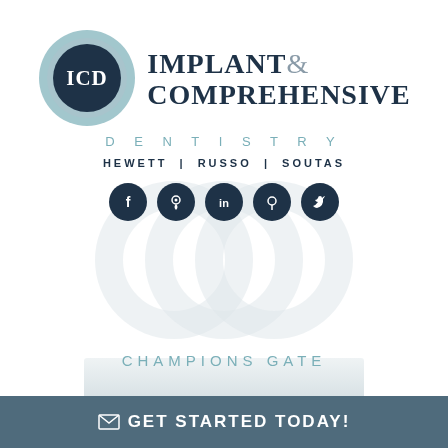[Figure (logo): ICD Implant & Comprehensive Dentistry logo with circular ICD emblem and social media icons]
CHAMPIONS GATE
GET STARTED TODAY!